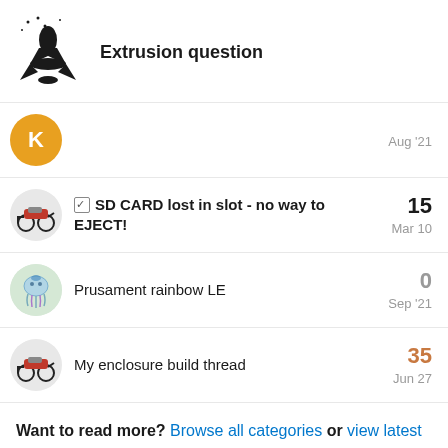Extrusion question
Aug '21
SD CARD lost in slot - no way to EJECT! — 15 — Mar 10
Prusament rainbow LE — 0 — Sep '21
My enclosure build thread — 35 — Jun 27
Want to read more? Browse all categories or view latest topics.